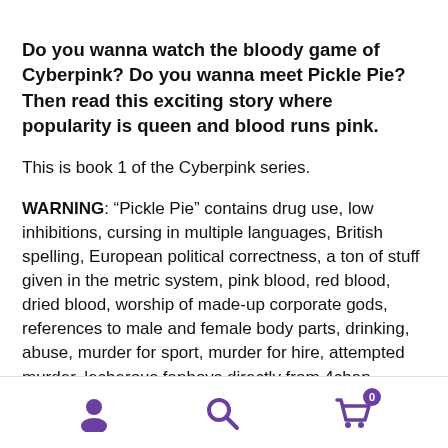Do you wanna watch the bloody game of Cyberpink? Do you wanna meet Pickle Pie? Then read this exciting story where popularity is queen and blood runs pink.
This is book 1 of the Cyberpink series.
WARNING: “Pickle Pie” contains drug use, low inhibitions, cursing in multiple languages, British spelling, European political correctness, a ton of stuff given in the metric system, pink blood, red blood, dried blood, worship of made-up corporate gods, references to male and female body parts, drinking, abuse, murder for sport, murder for hire, attempted murder, lecherous fanboys directly from 4chan, polyamory, gangsterism, debt bondage (the non-sexy kind of bondage,) transhumanism, misquoted Doctor
navigation icons: user, search, cart (0)